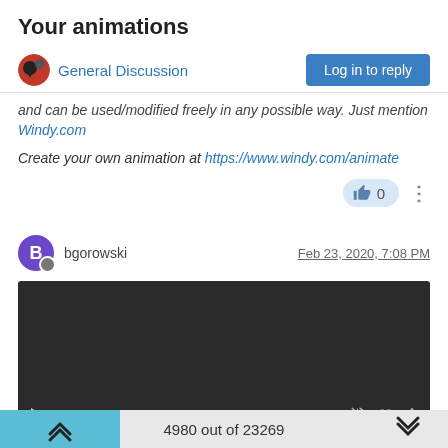Your animations
General Discussion
and can be used/modified freely in any possible way. Just mention Windy.com
Create your own animation at https://www.windy.com/animate
👍 0
bgorowski — Feb 23, 2020, 7:08 PM
[Figure (screenshot): Embedded video player showing 0:00 timestamp with dark background and playback controls]
4980 out of 23269